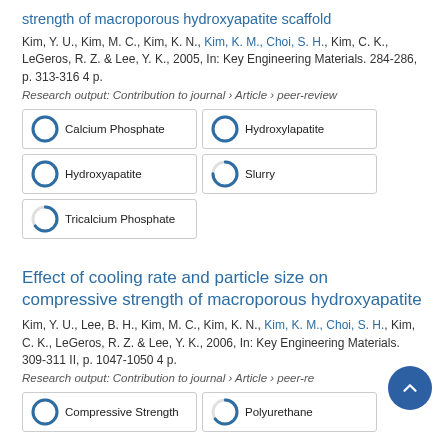strength of macroporous hydroxyapatite scaffold
Kim, Y. U., Kim, M. C., Kim, K. N., Kim, K. M., Choi, S. H., Kim, C. K., LeGeros, R. Z. & Lee, Y. K., 2005, In: Key Engineering Materials. 284-286, p. 313-316 4 p.
Research output: Contribution to journal › Article › peer-review
[Figure (infographic): Five keyword badges: Calcium Phosphate (100%), Hydroxylapatite (100%), Hydroxyapatite (100%), Slurry (75%), Tricalcium Phosphate (65%)]
Effect of cooling rate and particle size on compressive strength of macroporous hydroxyapatite
Kim, Y. U., Lee, B. H., Kim, M. C., Kim, K. N., Kim, K. M., Choi, S. H., Kim, C. K., LeGeros, R. Z. & Lee, Y. K., 2006, In: Key Engineering Materials. 309-311 II, p. 1047-1050 4 p.
Research output: Contribution to journal › Article › peer-re
[Figure (infographic): Two keyword badges visible: Compressive Strength (100%), Polyurethane (65%)]